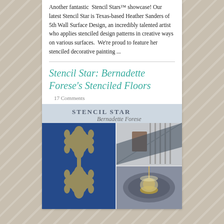Another fantastic Stencil Stars™ showcase! Our latest Stencil Star is Texas-based Heather Sanders of 5th Wall Surface Design, an incredibly talented artist who applies stenciled design patterns in creative ways on various surfaces. We're proud to feature her stenciled decorative painting ...
Stencil Star: Bernadette Forese's Stenciled Floors
17 Comments
[Figure (photo): Stencil Star Bernadette Forese showcase image: collage of stenciled floors and interior spaces with damask pattern in blue and gold, and staircase/chandelier photos]